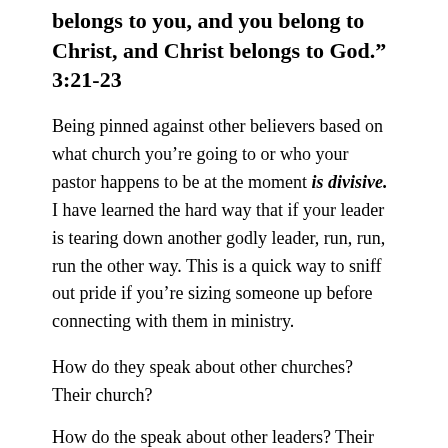belongs to you, and you belong to Christ, and Christ belongs to God.” 3:21-23
Being pinned against other believers based on what church you’re going to or who your pastor happens to be at the moment is divisive. I have learned the hard way that if your leader is tearing down another godly leader, run, run, run the other way. This is a quick way to sniff out pride if you’re sizing someone up before connecting with them in ministry.
How do they speak about other churches? Their church?
How do the speak about other leaders? Their leaders?
If the answer to these questions isn’t “with lots of grace,